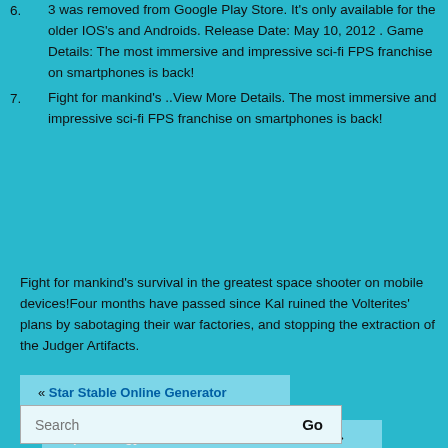6. 3 was removed from Google Play Store. It's only available for the older IOS's and Androids. Release Date: May 10, 2012 . Game Details: The most immersive and impressive sci-fi FPS franchise on smartphones is back!
7. Fight for mankind's ..View More Details. The most immersive and impressive sci-fi FPS franchise on smartphones is back!
Fight for mankind's survival in the greatest space shooter on mobile devices!Four months have passed since Kal ruined the Volterites' plans by sabotaging their war factories, and stopping the extraction of the Judger Artifacts.
« Star Stable Online Generator
Alpha Zawgyi For Window 10 Free Download »
Search   Go